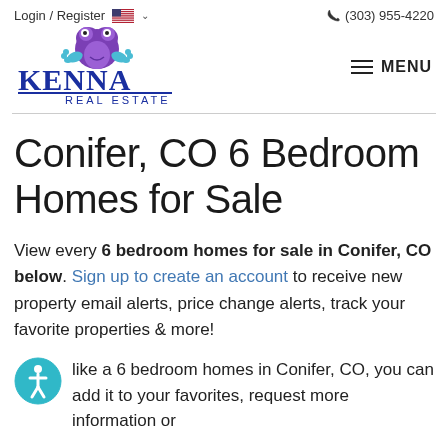Login / Register   (303) 955-4220
[Figure (logo): Kenna Real Estate logo with purple frog mascot and blue text]
Conifer, CO 6 Bedroom Homes for Sale
View every 6 bedroom homes for sale in Conifer, CO below. Sign up to create an account to receive new property email alerts, price change alerts, track your favorite properties & more!
like a 6 bedroom homes in Conifer, CO, you can add it to your favorites, request more information or